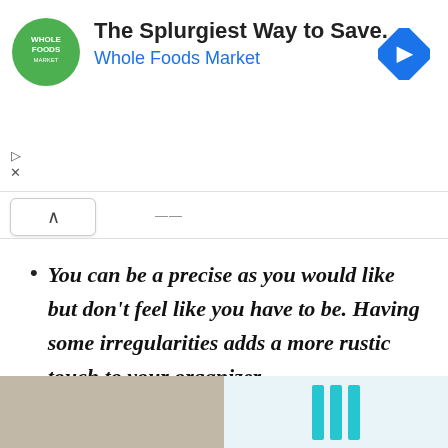[Figure (screenshot): Whole Foods Market advertisement banner with green circular logo, headline 'The Splurgiest Way to Save.' and subline 'Whole Foods Market', blue navigation arrow diamond icon on right, play/close controls on left]
You can be a precise as you would like but don't feel like you have to be. Having some irregularities adds a more rustic touch to your organizer.
[Figure (photo): Bottom strip showing two images: left side a stone/cement textured surface, right side teal/turquoise colored combs or craft tools]